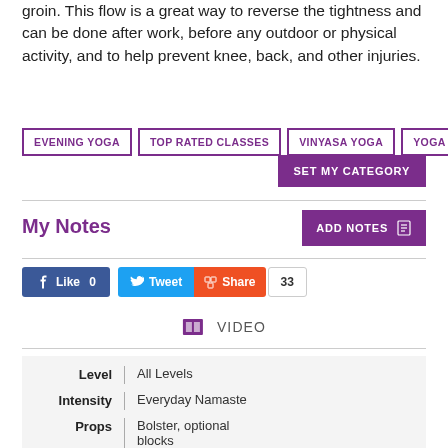groin. This flow is a great way to reverse the tightness and can be done after work, before any outdoor or physical activity, and to help prevent knee, back, and other injuries.
EVENING YOGA
TOP RATED CLASSES
VINYASA YOGA
YOGA FOR HIPS
SET MY CATEGORY
My Notes
ADD NOTES
Like 0
Tweet
Share
33
VIDEO
| Field | Value |
| --- | --- |
| Level | All Levels |
| Intensity | Everyday Namaste |
| Props | Bolster, optional blocks |